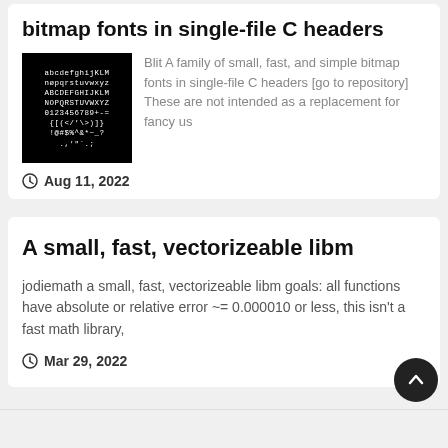bitmap fonts in single-file C headers
[Figure (screenshot): Black background image showing bitmap font characters: lowercase, uppercase, digits, and special characters in white pixel font]
Blit A family of small, fast, and simple bitmap fonts in single-file C headers [go to repository] These are not intended as a replacement for fancy us
Aug 11, 2022
A small, fast, vectorizeable libm
jodiemath a small, fast, vectorizeable libm goals: all functions have absolute or relative error ~= 0.000010 or less, this isn't a fast math library,
Mar 29, 2022